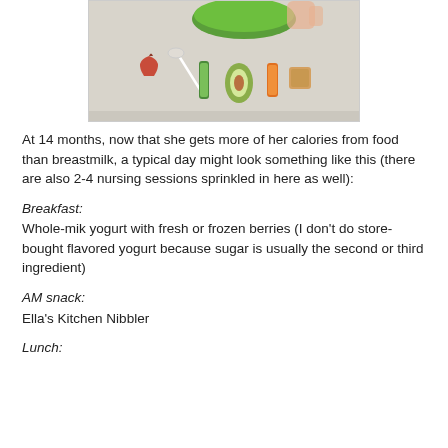[Figure (photo): Top-down photo of a baby's high chair tray with sliced vegetables and fruits (apple slice, cucumber strip, avocado slice, carrot stick) and a green bowl in the background with a child's hands visible]
At 14 months, now that she gets more of her calories from food than breastmilk, a typical day might look something like this (there are also 2-4 nursing sessions sprinkled in here as well):
Breakfast:
Whole-mik yogurt with fresh or frozen berries (I don't do store-bought flavored yogurt because sugar is usually the second or third ingredient)
AM snack:
Ella's Kitchen Nibbler
Lunch:
Spinach salad or...